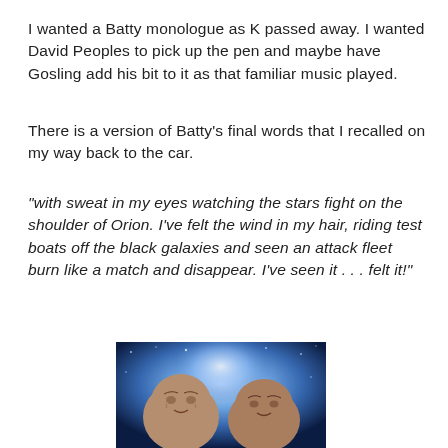I wanted a Batty monologue as K passed away. I wanted David Peoples to pick up the pen and maybe have Gosling add his bit to it as that familiar music played.
There is a version of Batty's final words that I recalled on my way back to the car.
"with sweat in my eyes watching the stars fight on the shoulder of Orion. I've felt the wind in my hair, riding test boats off the black galaxies and seen an attack fleet burn like a match and disappear. I've seen it . . . felt it!"
[Figure (illustration): Illustrated artwork showing two faces — an older man on the left and a younger man on the right — against a glowing blue and white cosmic background, resembling Blade Runner characters.]